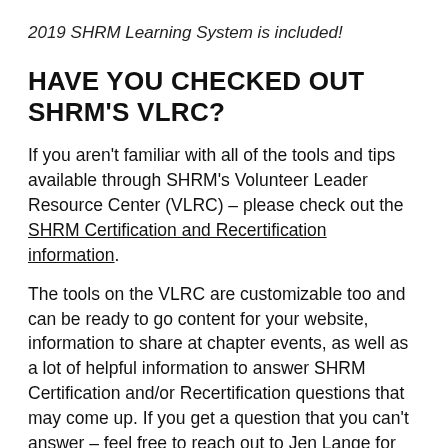2019 SHRM Learning System is included!
HAVE YOU CHECKED OUT SHRM'S VLRC?
If you aren't familiar with all of the tools and tips available through SHRM's Volunteer Leader Resource Center (VLRC) – please check out the SHRM Certification and Recertification information.
The tools on the VLRC are customizable too and can be ready to go content for your website, information to share at chapter events, as well as a lot of helpful information to answer SHRM Certification and/or Recertification questions that may come up. If you get a question that you can't answer – feel free to reach out to Jen Lange for additional support.